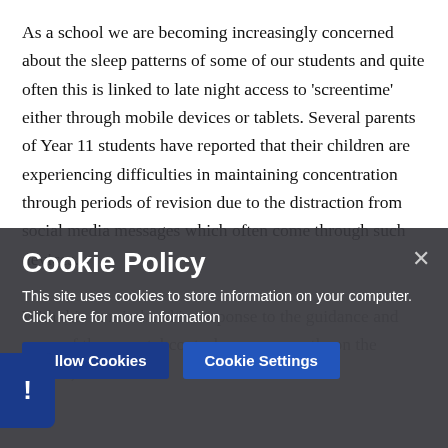As a school we are becoming increasingly concerned about the sleep patterns of some of our students and quite often this is linked to late night access to 'screentime' either through mobile devices or tablets. Several parents of Year 11 students have reported that their children are experiencing difficulties in maintaining concentration through periods of revision due to the distraction from social media messages which often come through such devices.
With this in mind and in response to the guidance some of the parental controls apps currently on the market, we...
[Figure (screenshot): Cookie Policy overlay banner with dark semi-transparent background. Contains title 'Cookie Policy', body text 'This site uses cookies to store information on your computer. Click here for more information', two buttons 'Allow Cookies' and 'Cookie Settings', and a close X button. A blue exclamation icon is partially visible at the bottom left.]